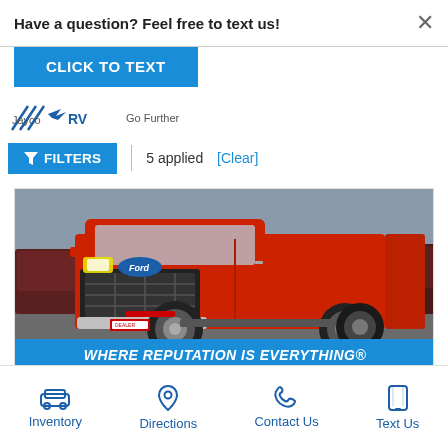Have a question? Feel free to text us!
CLICK TO TEXT
[Figure (logo): Jayco RV logo with diagonal lines and bird graphic, with 'Go Further' tagline]
FILTERS | 5 applied [Clear]
[Figure (photo): Red Ford F-350 or similar heavy-duty pickup truck photographed in a parking lot. Blue banner at bottom reads WHERE REPUTATION IS EVERYTHING®]
WHERE REPUTATION IS EVERYTHING®
Inventory
Directions
Contact Us
Text Us